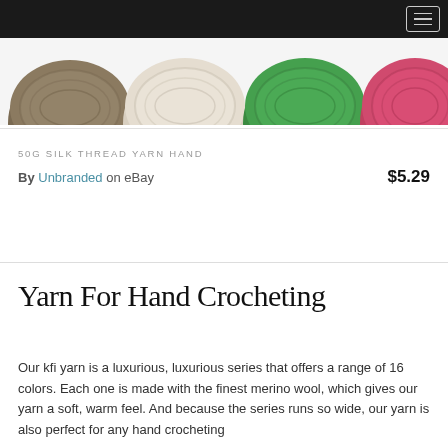[Figure (photo): Partial view of four yarn balls/skeins in colors brown, beige/white, green, and pink/red against a white background]
50G SILK THREAD YARN HAND
By Unbranded on eBay   $5.29
Yarn For Hand Crocheting
Our kfi yarn is a luxurious, luxurious series that offers a range of 16 colors. Each one is made with the finest merino wool, which gives our yarn a soft, warm feel. And because the series runs so wide, our yarn is also perfect for any hand crocheting